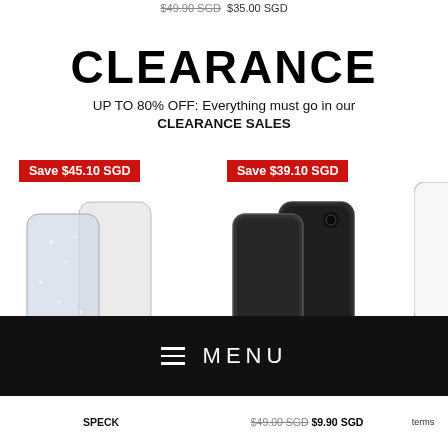$49.90 SGD  $35.00 SGD
CLEARANCE
UP TO 80% OFF: Everything must go in our CLEARANCE SALES
[Figure (photo): Two phone cases (clear/glitter) with red badge 'Save $45.10 SGD']
[Figure (photo): Two black phone cases with red badge 'Save $39.10 SGD']
[Figure (photo): Partial clear phone case visible at right edge]
SPECK PRESIDIO
SPECK PRESIDIO
SPECK
≡  MENU
SPECK
$49.00 SGD  $9.90 SGD